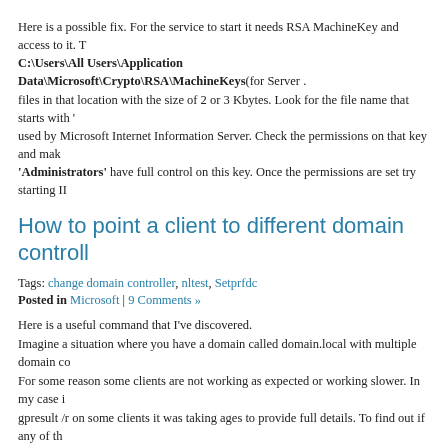Here is a possible fix. For the service to start it needs RSA MachineKey and access to it. The key is located in C:\Users\All Users\Application Data\Microsoft\Crypto\RSA\MachineKeys(for Server ...) files in that location with the size of 2 or 3 Kbytes. Look for the file name that starts with '...' used by Microsoft Internet Information Server. Check the permissions on that key and make sure 'Administrators' have full control on this key. Once the permissions are set try starting IIS...
How to point a client to different domain controllers
Tags: change domain controller, nltest, Setprfdc
Posted in Microsoft | 9 Comments »
Here is a useful command that I've discovered.
Imagine a situation where you have a domain called domain.local with multiple domain co...
For some reason some clients are not working as expected or working slower. In my case i... gpresult /r on some clients it was taking ages to provide full details. To find out if any of th... having problems I wanted quickly to change the domain controller that the affected client i... Back in the day when Windows NT 4 ruled the world there was a command called setprfdc... controller) nltest does something similar.
So first I wanted to find out what DC the client is using. Now there are many different way... I've used:
nltest /dcnetdc:domain.local